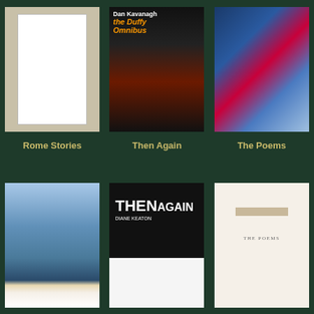[Figure (photo): Book cover: Rome Stories]
Rome Stories
[Figure (photo): Book cover: The Duffy Omnibus by Dan Kavanagh]
Then Again
[Figure (photo): Book cover: The Poems]
The Poems
[Figure (photo): Book cover: Keats Poems Everyman's Library Pocket]
Keats: Poems (Everyman's Library Pocket
[Figure (photo): Book cover: Then Again by Diane Keaton]
Russian Stories
[Figure (photo): Book cover: The Poems (minimalist white cover)]
The World I Live In
[Figure (photo): Book cover: red cover (partial, bottom row)]
[Figure (photo): Book cover: Olympic/Russian Stories (partial, bottom row)]
[Figure (photo): Book cover: The World I Live In (partial, bottom row)]